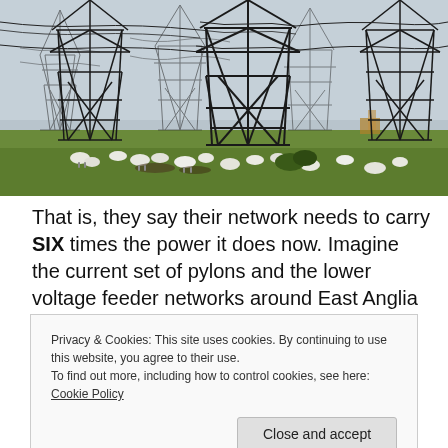[Figure (photo): Photograph of multiple large electrical transmission pylons/towers in a field with sheep grazing beneath them on green grass, overcast sky in background.]
That is, they say their network needs to carry SIX times the power it does now. Imagine the current set of pylons and the lower voltage feeder networks around East Anglia
Privacy & Cookies: This site uses cookies. By continuing to use this website, you agree to their use.
To find out more, including how to control cookies, see here: Cookie Policy